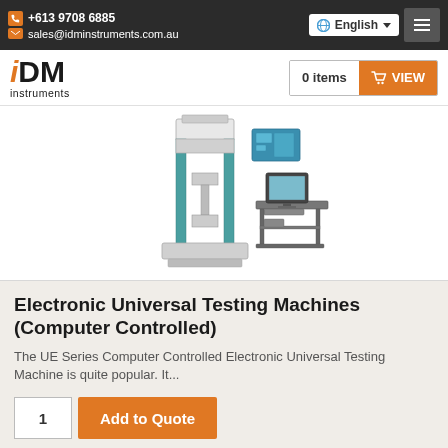+613 9708 6885 | sales@idminstruments.com.au | English
[Figure (logo): IDM instruments logo with orange 'i' and black 'DM instruments' text]
[Figure (photo): Electronic Universal Testing Machine (UE Series) - tall frame testing machine with computer workstation]
Electronic Universal Testing Machines (Computer Controlled)
The UE Series Computer Controlled Electronic Universal Testing Machine is quite popular. It...
1  Add to Quote